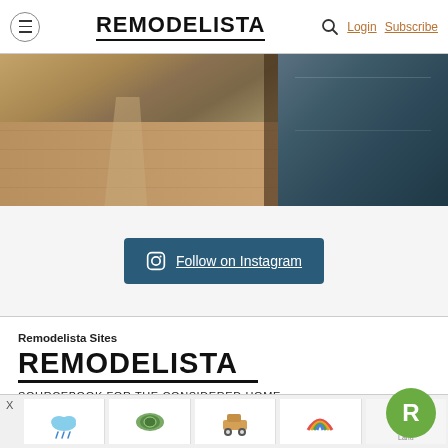REMODELISTA   Login  Subscribe
[Figure (photo): Interior room photo showing wooden floor, chair, and dark navy kitchen cabinets]
Follow on Instagram
Remodelista Sites
REMODELISTA
SOURCEBOOK FOR THE CONSIDERED HOME
The one-stop sourcebook for the considered home, guiding readers artfully through the remodeling and design pro...
[Figure (photo): Advertisement banner with toy/children product images and a green R badge overlay]